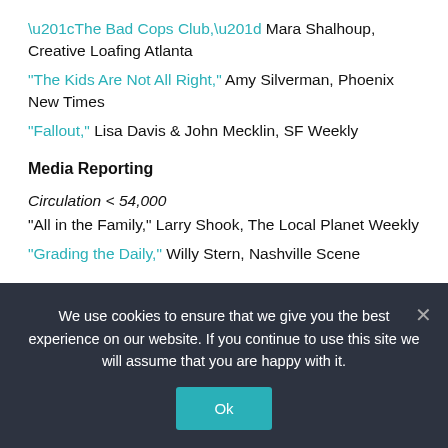“The Bad Cops Club,” Mara Shalhoup, Creative Loafing Atlanta
“The Kids Are Not All Right,” Amy Silverman, Phoenix New Times
“Fallout,” Lisa Davis & John Mecklin, SF Weekly
Media Reporting
Circulation < 54,000
“All in the Family,” Larry Shook, The Local Planet Weekly
“Grading the Daily,” Willy Stern, Nashville Scene
Circulation > 54,000
We use cookies to ensure that we give you the best experience on our website. If you continue to use this site we will assume that you are happy with it.